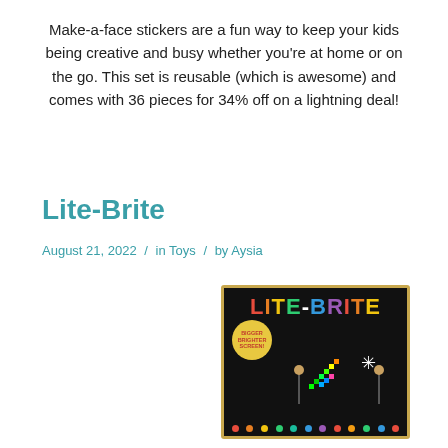Make-a-face stickers are a fun way to keep your kids being creative and busy whether you’re at home or on the go. This set is reusable (which is awesome) and comes with 36 pieces for 34% off on a lightning deal!
Lite-Brite
August 21, 2022 / in Toys / by Aysia
[Figure (photo): Lite-Brite toy box packaging showing colorful logo on black background with two children and glowing pixel art display, plus a partial view of the Lite-Brite device below]